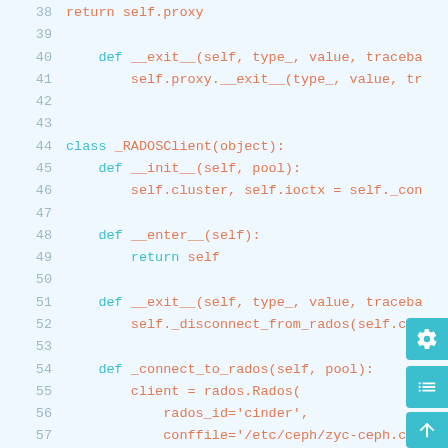Code snippet showing Python class definitions with __exit__, __init__, __enter__, _connect_to_rados methods for _RADOSClient class, lines 38-58
[Figure (screenshot): Python source code viewer showing lines 38-58 of a file with _RADOSClient class definition. The UI has three action buttons on the right (settings gear icon, list icon, and up-arrow icon) in cyan color.]